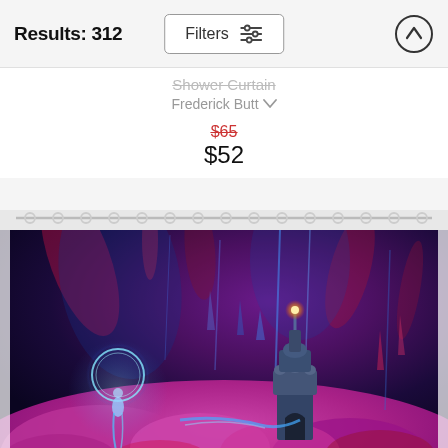Results: 312
Shower Curtain
Frederick Butt
$65  $52
[Figure (photo): A fantasy shower curtain product image showing a vibrant, colorful digital artwork of a magical landscape with a glowing castle/temple structure, a circular portal with a figure, neon-purple and pink terrain, and dramatic lighting in purples, blues, and reds. The curtain is shown hanging from metal rings on a rod.]